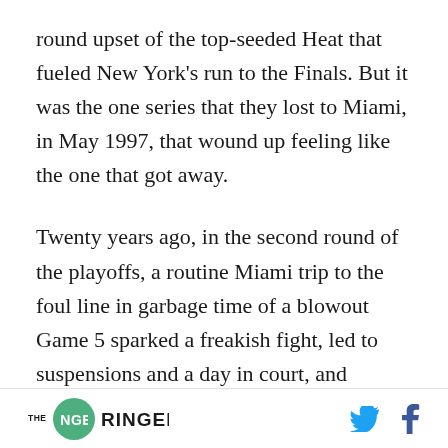round upset of the top-seeded Heat that fueled New York's run to the Finals. But it was the one series that they lost to Miami, in May 1997, that wound up feeling like the one that got away.
Twenty years ago, in the second round of the playoffs, a routine Miami trip to the foul line in garbage time of a blowout Game 5 sparked a freakish fight, led to suspensions and a day in court, and resulted in Miami battling back from down 3–1 to win the series. Some games hang on a bounce, some plays hinge on a screen. This series
THE RINGER